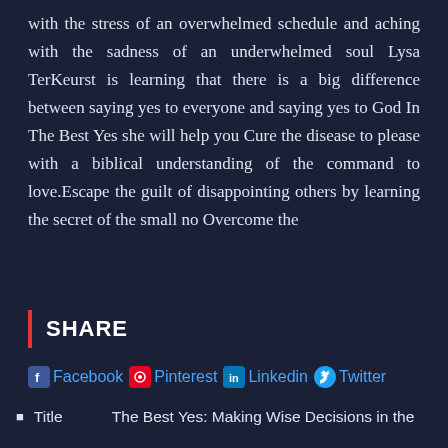with the stress of an overwhelmed schedule and aching with the sadness of an underwhelmed soul Lysa TerKeurst is learning that there is a big difference between saying yes to everyone and saying yes to God In The Best Yes she will help you Cure the disease to please with a biblical understanding of the command to love.Escape the guilt of disappointing others by learning the secret of the small no Overcome the
SHARE
Facebook Pinterest Linkedin Twitter
Title   The Best Yes: Making Wise Decisions in the